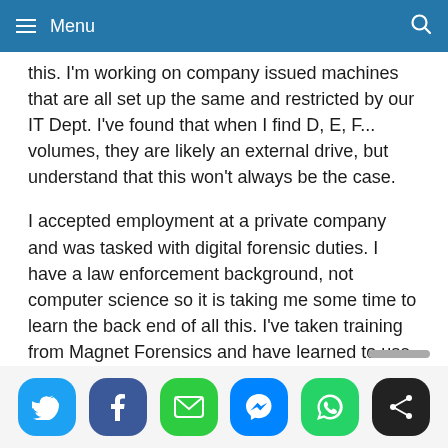Menu
this. I'm working on company issued machines that are all set up the same and restricted by our IT Dept. I've found that when I find D, E, F... volumes, they are likely an external drive, but understand that this won't always be the case.
I accepted employment at a private company and was tasked with digital forensic duties. I have a law enforcement background, not computer science so it is taking me some time to learn the back end of all this. I've taken training from Magnet Forensics and have learned to use their Axiom product well. I guess you could say I'm practicing push button forensics and trying to learn computer fundamentals as I go. Thanks for taking the time to reply.